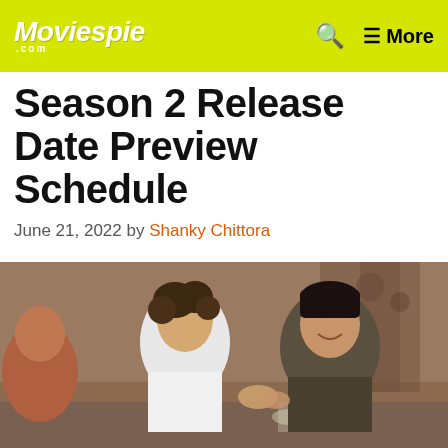Moviespie.com — More
Season 2 Release Date Preview Schedule
June 21, 2022 by Shanky Chittora
[Figure (photo): Two young men, one in a white tank top and one in a dark shirt, sitting at a dinner table holding hands and smiling at each other in an indoor setting.]